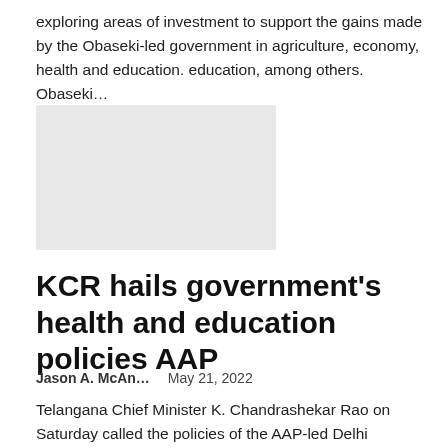exploring areas of investment to support the gains made by the Obaseki-led government in agriculture, economy, health and education. education, among others. Obaseki…
[Figure (photo): Image placeholder — grey rectangle representing an embedded photo]
KCR hails government's health and education policies AAP
Jason A. McAn…    May 21, 2022
Telangana Chief Minister K. Chandrashekar Rao on Saturday called the policies of the AAP-led Delhi government regarding the health and education sectors "exceptional". He said this while visiting government schools and Mohalla clinics with